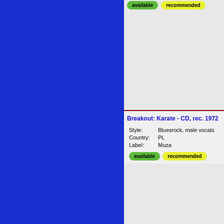[Figure (other): Blue panel on the left side of the page]
available
recommended
Breakout: Karate - CD, rec. 1972
Style: Bluesrock, male vocals
Country: PL
Label: Muza
available
recommended
Breakout: Na drugim brzegu teczy
Style: Rock, female vocals
Country: PL
Label: Muza
available
recommended